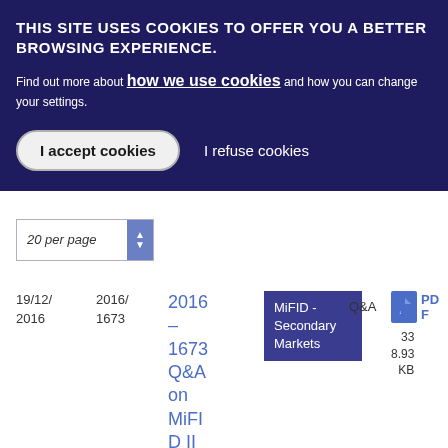THIS SITE USES COOKIES TO OFFER YOU A BETTER BROWSING EXPERIENCE.
Find out more about how we use cookies and how you can change your settings.
I accept cookies | I refuse cookies
20 per page
| Date | Reference | Title | Category | Type | Download |
| --- | --- | --- | --- | --- | --- |
| 19/12/2016 | 2016/1673 | 2016 - 1673 Q&A on MiFID II commodity | MiFID - Secondary Markets | Q&A | PDF 338.93 KB |